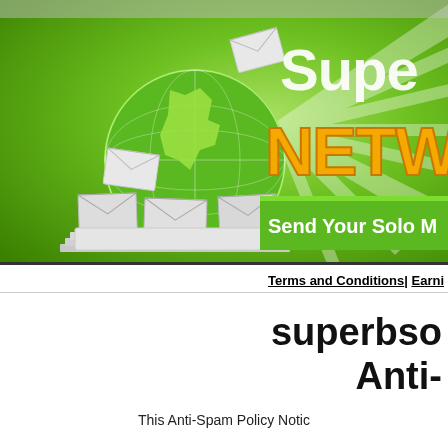[Figure (illustration): Green marketing banner with globe surrounded by white envelopes/letters, bright green radial sunburst background, 'Super' text in white with shadow at top right, 'NETW' in large gold/yellow letters, 'Send Your Solo M' in white on green bar at bottom]
Terms and Conditions| Earni
superbso
Anti-
This Anti-Spam Policy Notic